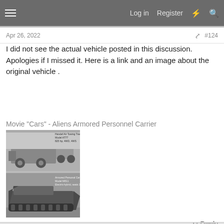Log in  Register
Apr 26, 2022  #124
I did not see the actual vehicle posted in this discussion. Apologies if I missed it. Here is a link and an image about the original vehicle .
Movie "Cars" - Aliens Armored Personnel Carrier
[Figure (photo): Two black and white photos stacked: top shows a Handef Air Towing Tractor Model AT77, bottom shows an Armored Personnel Carrier Model M977 Electric-hybrid, seats 13]
↩ Reply
👍 joberg and Krats
Compo